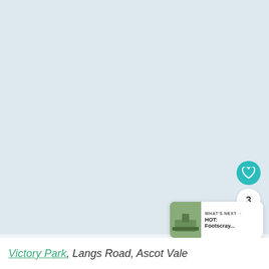[Figure (photo): Large light blue-grey photo area showing Victory Park, Langs Road, Ascot Vale - mostly a pale washed out sky/landscape image.]
[Figure (infographic): UI overlay with heart/like button (teal circle), count badge showing 3, share button (white circle with share icon), and a 'What's Next' card showing HOT: Footscray... with a thumbnail image.]
Victory Park, Langs Road, Ascot Vale